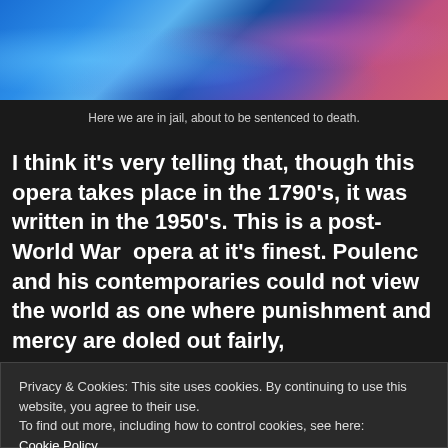[Figure (photo): A performance scene on stage with blue and purple lighting, performers visible on the floor of the stage]
Here we are in jail, about to be sentenced to death.
I think it’s very telling that, though this opera takes place in the 1790’s, it was written in the 1950’s. This is a post- World War  opera at it’s finest. Poulenc and his contemporaries could not view the world as one where punishment and mercy are doled out fairly,
Privacy & Cookies: This site uses cookies. By continuing to use this website, you agree to their use.
To find out more, including how to control cookies, see here:
Cookie Policy
Close and accept
Nothing is resolved. Nothing changes.